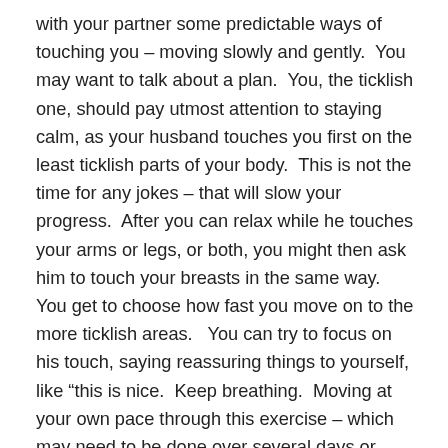with your partner some predictable ways of touching you – moving slowly and gently.  You may want to talk about a plan.  You, the ticklish one, should pay utmost attention to staying calm, as your husband touches you first on the least ticklish parts of your body.  This is not the time for any jokes – that will slow your progress.  After you can relax while he touches your arms or legs, or both, you might then ask him to touch your breasts in the same way.  You get to choose how fast you move on to the more ticklish areas.   You can try to focus on his touch, saying reassuring things to yourself, like “this is nice.  Keep breathing.  Moving at your own pace through this exercise – which may need to be done over several days or weeks – is the secret to overcoming ticklishness.  Yes, you will need your partner’s patience – and you are worth it.  You will both reap the benefits.